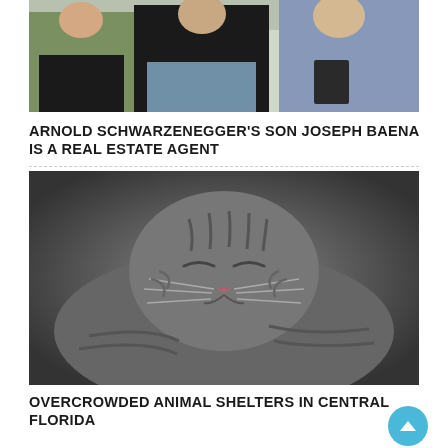[Figure (photo): Photo of three people standing together outdoors, with a sign saying 'Since' in background. Arnold Schwarzenegger's son Joseph Baena and associates.]
ARNOLD SCHWARZENEGGER'S SON JOSEPH BAENA IS A REAL ESTATE AGENT
[Figure (photo): Close-up black and white photo of a tabby cat with eyes closed, appearing to be sleeping or resting contentedly.]
OVERCROWDED ANIMAL SHELTERS IN CENTRAL FLORIDA